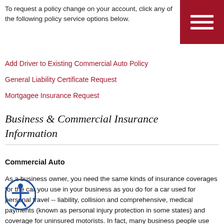To request a policy change on your account, click any of the following policy service options below.
Add Driver to Existing Commercial Auto Policy
General Liability Certificate Request
Mortgagee Insurance Request
Business & Commercial Insurance Information
Commercial Auto
As a business owner, you need the same kinds of insurance coverages for the car you use in your business as you do for a car used for personal travel -- liability, collision and comprehensive, medical payments (known as personal injury protection in some states) and coverage for uninsured motorists. In fact, many business people use the same vehicle for both business and personal insurance. If the vehicle is owned by the business, make sure the name of the business appears on the policy as the "principal insured" rather than your name. This will avoid possible confusion in the event that you need to file a claim or a claim is filed against